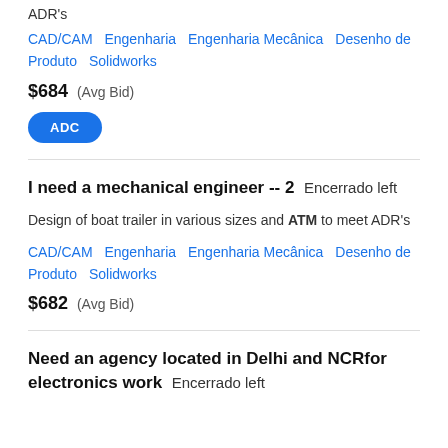ADR's
CAD/CAM   Engenharia   Engenharia Mecânica   Desenho de Produto   Solidworks
$684  (Avg Bid)
ADC
I need a mechanical engineer -- 2   Encerrado left
Design of boat trailer in various sizes and ATM to meet ADR's
CAD/CAM   Engenharia   Engenharia Mecânica   Desenho de Produto   Solidworks
$682  (Avg Bid)
Need an agency located in Delhi and NCRfor electronics work   Encerrado left